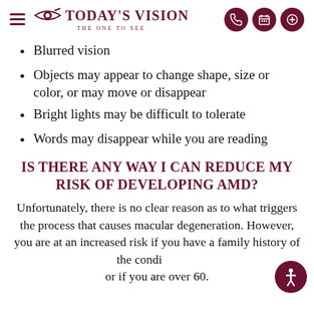Today's Vision — The One To See
Blurred vision
Objects may appear to change shape, size or color, or may move or disappear
Bright lights may be difficult to tolerate
Words may disappear while you are reading
IS THERE ANY WAY I CAN REDUCE MY RISK OF DEVELOPING AMD?
Unfortunately, there is no clear reason as to what triggers the process that causes macular degeneration. However, you are at an increased risk if you have a family history of the condi... or if you are over 60.